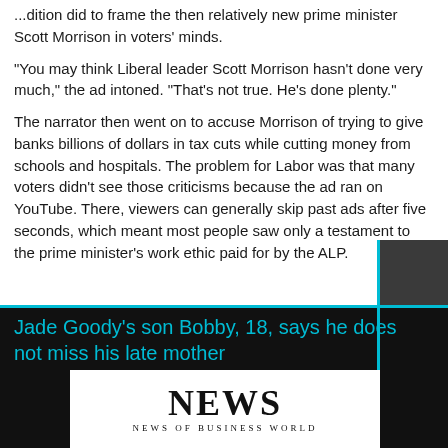...dition did to frame the then relatively new prime minister Scott Morrison in voters' minds.
"You may think Liberal leader Scott Morrison hasn't done very much," the ad intoned. "That's not true. He's done plenty."
The narrator then went on to accuse Morrison of trying to give banks billions of dollars in tax cuts while cutting money from schools and hospitals. The problem for Labor was that many voters didn't see those criticisms because the ad ran on YouTube. There, viewers can generally skip past ads after five seconds, which meant most people saw only a testament to the prime minister's work ethic paid for by the ALP.
Jade Goody's son Bobby, 18, says he does not miss his late mother
[Figure (photo): NEWS OF BUSINESS WORLD newspaper logo/masthead image on white background]